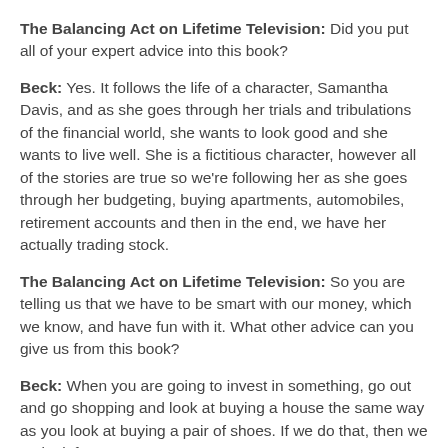The Balancing Act on Lifetime Television: Did you put all of your expert advice into this book?
Beck: Yes. It follows the life of a character, Samantha Davis, and as she goes through her trials and tribulations of the financial world, she wants to look good and she wants to live well. She is a fictitious character, however all of the stories are true so we're following her as she goes through her budgeting, buying apartments, automobiles, retirement accounts and then in the end, we have her actually trading stock.
The Balancing Act on Lifetime Television: So you are telling us that we have to be smart with our money, which we know, and have fun with it. What other advice can you give us from this book?
Beck: When you are going to invest in something, go out and go shopping and look at buying a house the same way as you look at buying a pair of shoes. If we do that, then we make it fun.
The Balancing Act on Lifetime Television: When people hear about finances, get their credit card statements, they...